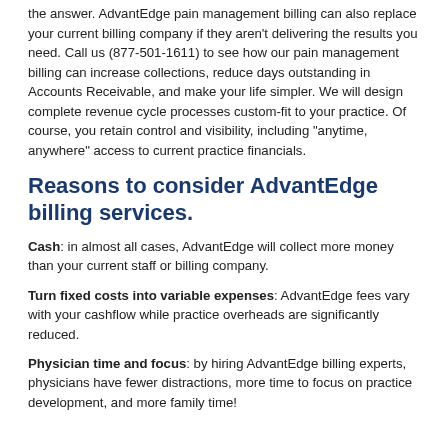the answer. AdvantEdge pain management billing can also replace your current billing company if they aren't delivering the results you need. Call us (877-501-1611) to see how our pain management billing can increase collections, reduce days outstanding in Accounts Receivable, and make your life simpler. We will design complete revenue cycle processes custom-fit to your practice. Of course, you retain control and visibility, including "anytime, anywhere" access to current practice financials.
Reasons to consider AdvantEdge billing services.
Cash: in almost all cases, AdvantEdge will collect more money than your current staff or billing company.
Turn fixed costs into variable expenses: AdvantEdge fees vary with your cashflow while practice overheads are significantly reduced.
Physician time and focus: by hiring AdvantEdge billing experts, physicians have fewer distractions, more time to focus on practice development, and more family time!